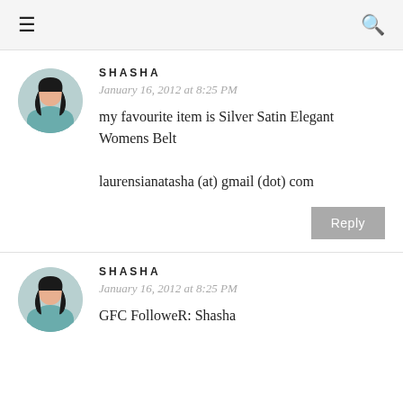≡  🔍
SHASHA
January 16, 2012 at 8:25 PM
my favourite item is Silver Satin Elegant Womens Belt

laurensianatasha (at) gmail (dot) com
Reply
SHASHA
January 16, 2012 at 8:25 PM
GFC FolloweR: Shasha